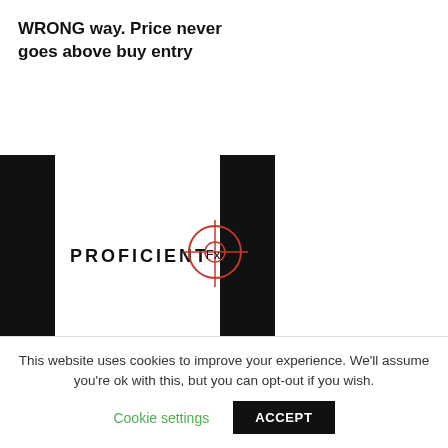WRONG way. Price never goes above buy entry
[Figure (logo): Proficient FX logo with two black vertical bars on left and right, and 'PROFICIENT FX' text with a red crosshair/target symbol in the center]
Institutional FOREX Trading
**Trade WITH The Market
This website uses cookies to improve your experience. We'll assume you're ok with this, but you can opt-out if you wish.
Cookie settings    ACCEPT